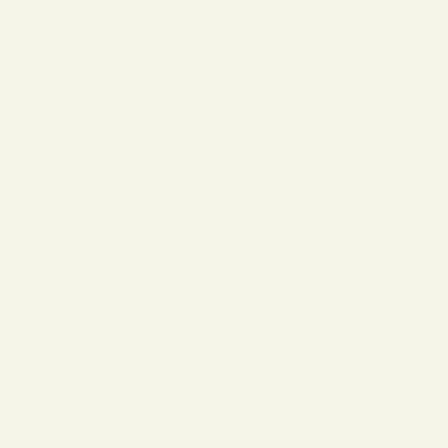[Figure (screenshot): XML/code view showing join and persName/interp elements with criminalCharge attributes and defendant target IDs, displayed in a two-panel layout with a beige left panel and white right panel containing syntax-highlighted XML code.]